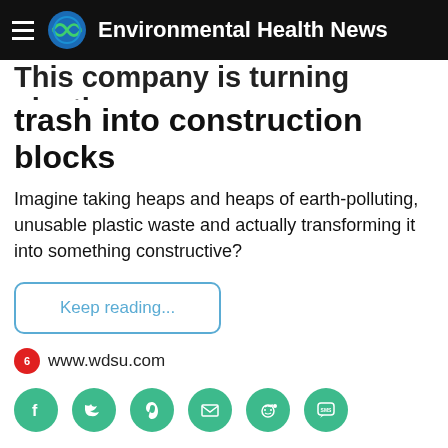Environmental Health News
This company is turning plastic trash into construction blocks
Imagine taking heaps and heaps of earth-polluting, unusable plastic waste and actually transforming it into something constructive?
Keep reading...
www.wdsu.com